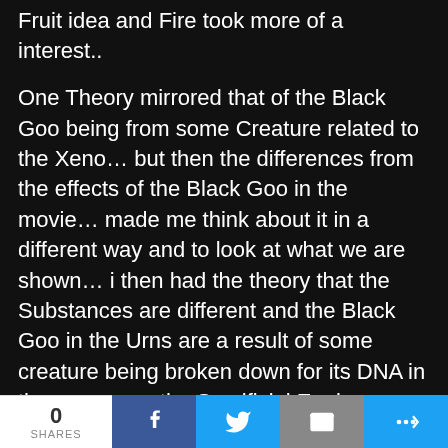Fruit idea and Fire took more of a interest..
One Theory mirrored that of the Black Goo being from some Creature related to the Xeno… but then the differences from the effects of the Black Goo in the movie… made me think about it in a different way and to look at what we are shown… i then had the theory that the Substances are different and the Black Goo in the Urns are a result of some creature being broken down for its DNA in the same way the Sacrificial Engineer did…. this also fitted with the Sacrifical Pose of the Deacon in the Mural and so this 2nd theory was one i leaned towards. And looking at the unused Prometheus Concepts… Fifield and other clues it made perfect sense… then the other Scene where we had the Sacrifical Bowl… this led me to side with this other theory as opposed to another that matches what Benjamin had…
0 SHARES | Facebook | Twitter | Email | More